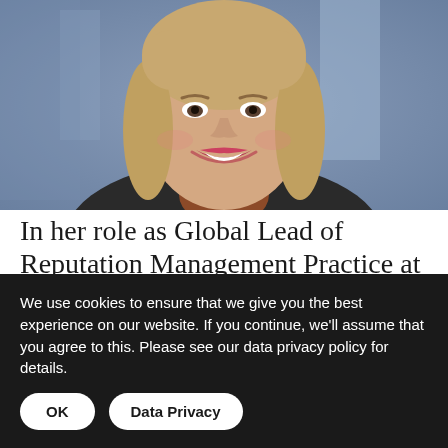[Figure (photo): Professional headshot of a smiling woman with blonde shoulder-length hair, wearing a dark jacket and orange/rust scarf, photographed against a blurred blue background.]
In her role as Global Lead of Reputation Management Practice at FleishmanHillard, Marjorie Benzkofer regularly works with C-
We use cookies to ensure that we give you the best experience on our website. If you continue, we'll assume that you agree to this. Please see our data privacy policy for details.
OK
Data Privacy